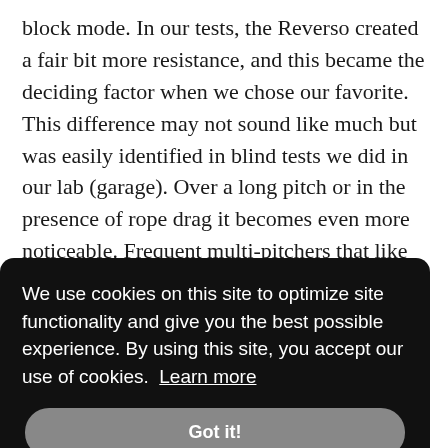block mode. In our tests, the Reverso created a fair bit more resistance, and this became the deciding factor when we chose our favorite. This difference may not sound like much but was easily identified in blind tests we did in our lab (garage). Over a long pitch or in the presence of rope drag it becomes even more noticeable. Frequent multi-pitchers that like to belay off the anchor can save energy (and elbow pain), by choosing the BD ATC Guide instead.
anchor gh the vices Cramer
We use cookies on this site to optimize site functionality and give you the best possible experience. By using this site, you accept our use of cookies. Learn more
Got it!
ey are
d ... that ... able of ...